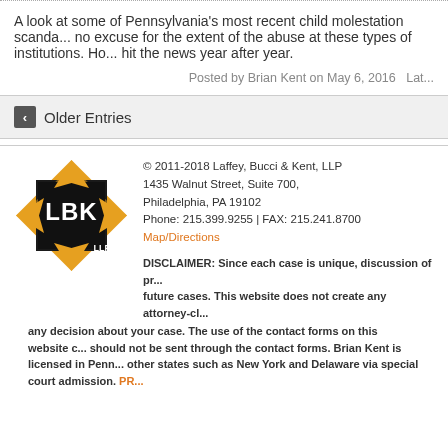A look at some of Pennsylvania's most recent child molestation scanda... no excuse for the extent of the abuse at these types of institutions. Ho... hit the news year after year.
Posted by Brian Kent on May 6, 2016   Lat...
< Older Entries
© 2011-2018 Laffey, Bucci & Kent, LLP
1435 Walnut Street, Suite 700,
Philadelphia, PA 19102
Phone: 215.399.9255 | FAX: 215.241.8700 Map/Directions
DISCLAIMER: Since each case is unique, discussion of pr... future cases. This website does not create any attorney-cl... any decision about your case. The use of the contact forms on this website c... should not be sent through the contact forms. Brian Kent is licensed in Penn... other states such as New York and Delaware via special court admission. PR...